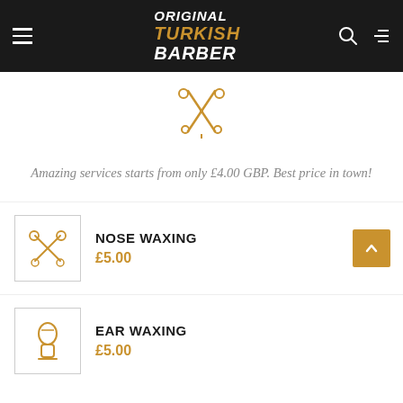Original Turkish Barber — navigation header with hamburger menu, logo, search and menu icons
[Figure (logo): Crossed scissors/razors icon in gold, decorative barber logo mark]
Amazing services starts from only £4.00 GBP. Best price in town!
NOSE WAXING £5.00
EAR WAXING £5.00